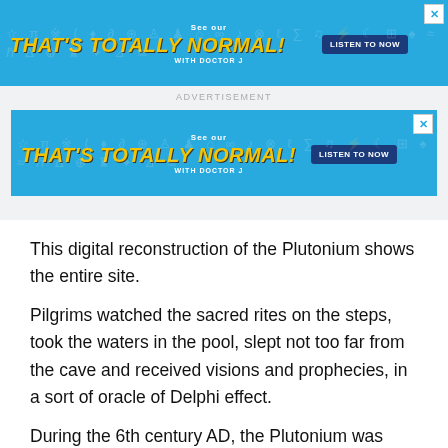[Figure (screenshot): Advertisement banner: 'THAT'S TOTALLY NORMAL! WITH DOCTOR J - LISTEN TO NOW' on blue background (top)]
ADVERTISEMENT
[Figure (screenshot): Advertisement banner: 'THAT'S TOTALLY NORMAL! WITH DOCTOR J - LISTEN TO NOW' on blue background (second)]
This digital reconstruction of the Plutonium shows the entire site.
Pilgrims watched the sacred rites on the steps, took the waters in the pool, slept not too far from the cave and received visions and prophecies, in a sort of oracle of Delphi effect.
During the 6th century AD, the Plutonium was obliterated by the Christians. Earthquakes may have then completed